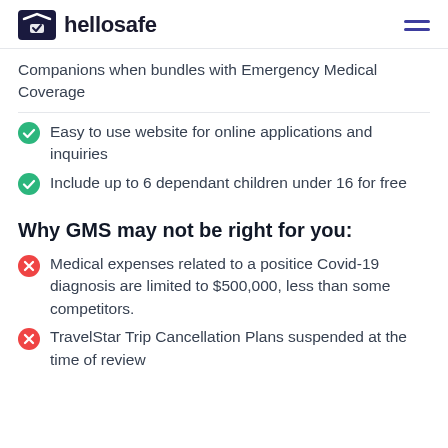hellosafe
Companions when bundles with Emergency Medical Coverage
Easy to use website for online applications and inquiries
Include up to 6 dependant children under 16 for free
Why GMS may not be right for you:
Medical expenses related to a positice Covid-19 diagnosis are limited to $500,000, less than some competitors.
TravelStar Trip Cancellation Plans suspended at the time of review